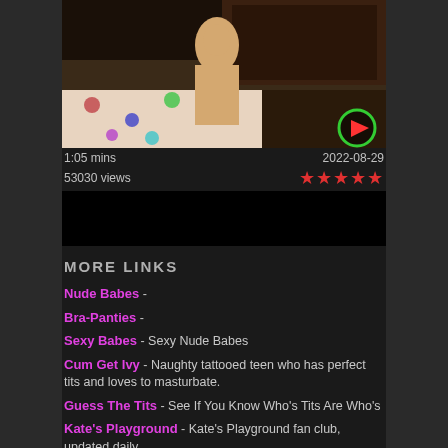[Figure (screenshot): Video thumbnail showing a woman, with a play button overlay in the bottom-right corner]
1:05 mins   2022-08-29
53030 views  ★★★★★
MORE LINKS
Nude Babes -
Bra-Panties -
Sexy Babes - Sexy Nude Babes
Cum Get Ivy - Naughty tattooed teen who has perfect tits and loves to masturbate.
Guess The Tits - See If You Know Who's Tits Are Who's
Kate's Playground - Kate's Playground fan club, updated daily
Lia 19 - Lia 19 fanclub blog
Next Door Nikki - Next Door Nikki fan club blog
Play With Paris - Play With Paris blog, updated daily.